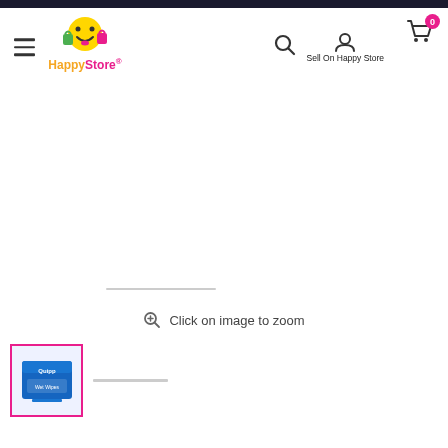[Figure (screenshot): HappyStore e-commerce website header navigation bar with hamburger menu, HappyStore logo (smiley face with shopping bags), search icon, user account icon with 'Sell On Happy Store' text, and shopping cart icon with badge showing 0]
Click on image to zoom
[Figure (photo): Thumbnail of a product box (appears to be Quipp or similar brand tissue/wipes box in blue and white) with pink/magenta border indicating selected state]